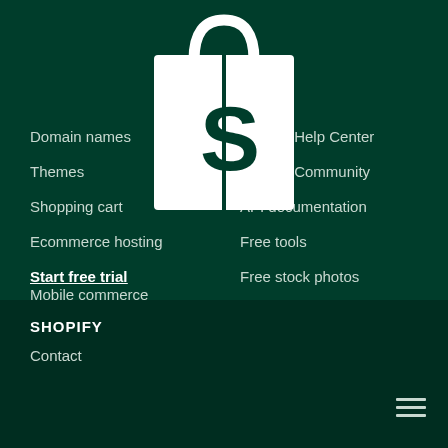[Figure (logo): Shopify shopping bag logo in white on dark green background]
Domain names
Themes
Shopping cart
Ecommerce hosting
Start free trial
Mobile commerce
Ecommerce software
Online store builder
Dropshipping Business
Store themes
Shopify Help Center
Shopify Community
API documentation
Free tools
Free stock photos
Websites for sale
Logo Maker
Business name generator
Research
Legal
SHOPIFY
Contact